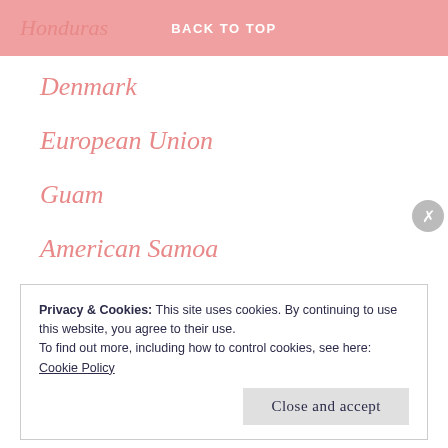Honduras   BACK TO TOP
Denmark
European Union
Guam
American Samoa
Cayman Islands
Privacy & Cookies: This site uses cookies. By continuing to use this website, you agree to their use.
To find out more, including how to control cookies, see here: Cookie Policy
Close and accept